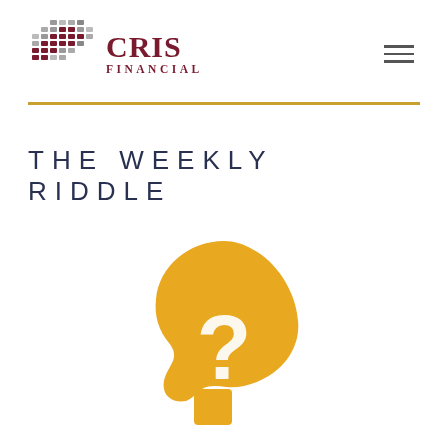[Figure (logo): CRIS Financial logo with mosaic/grid icon in maroon and gray tones]
THE WEEKLY RIDDLE
[Figure (illustration): Golden silhouette of a human head profile facing right with a white question mark inside]